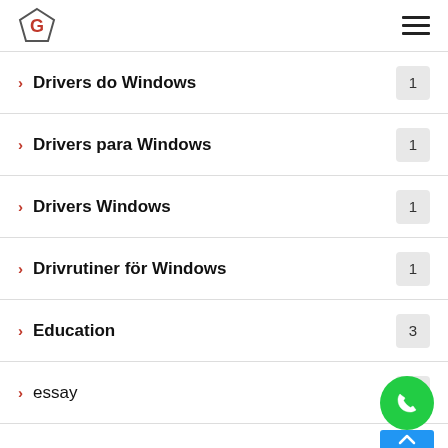G logo | hamburger menu
Drivers do Windows | 1
Drivers para Windows | 1
Drivers Windows | 1
Drivrutiner för Windows | 1
Education | 3
essay | 3
essay online